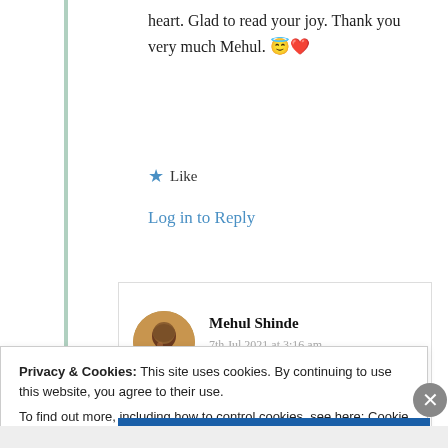heart. Glad to read your joy. Thank you very much Mehul. 😇❤️
★ Like
Log in to Reply
Mehul Shinde
7th Jul 2021 at 3:16 am
Privacy & Cookies: This site uses cookies. By continuing to use this website, you agree to their use.
To find out more, including how to control cookies, see here: Cookie Policy
Close and accept